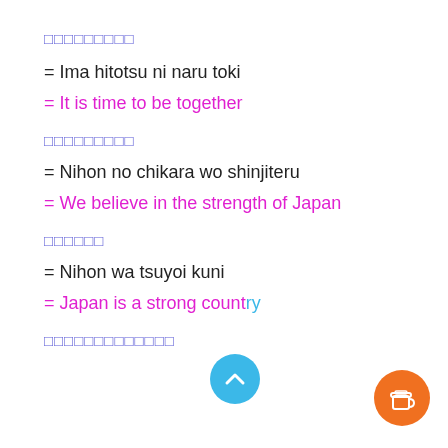今一つになる時
= Ima hitotsu ni naru toki
= It is time to be together
日本の力を信じてる
= Nihon no chikara wo shinjiteru
= We believe in the strength of Japan
日本は強い国
= Nihon wa tsuyoi kuni
= Japan is a strong country
日本はとても強い国